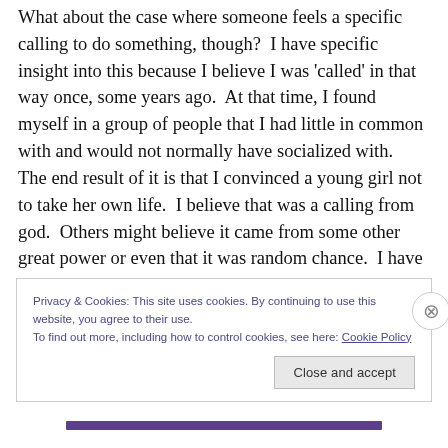What about the case where someone feels a specific calling to do something, though?  I have specific insight into this because I believe I was 'called' in that way once, some years ago.  At that time, I found myself in a group of people that I had little in common with and would not normally have socialized with.  The end result of it is that I convinced a young girl not to take her own life.  I believe that was a calling from god.  Others might believe it came from some other great power or even that it was random chance.  I have no problem with people who believe it was a higher power by some other name but have difficulty
Privacy & Cookies: This site uses cookies. By continuing to use this website, you agree to their use.
To find out more, including how to control cookies, see here: Cookie Policy